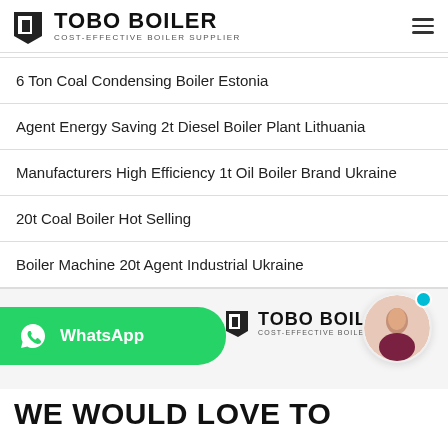TOBO BOILER COST-EFFECTIVE BOILER SUPPLIER
6 Ton Coal Condensing Boiler Estonia
Agent Energy Saving 2t Diesel Boiler Plant Lithuania
Manufacturers High Efficiency 1t Oil Boiler Brand Ukraine
20t Coal Boiler Hot Selling
Boiler Machine 20t Agent Industrial Ukraine
[Figure (logo): Tobo Boiler logo with WhatsApp button and customer service avatar]
WE WOULD LOVE TO